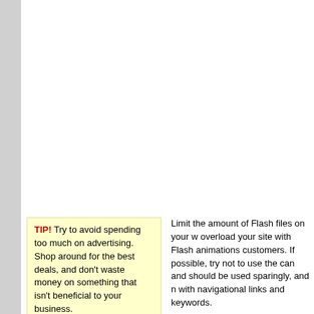TIP! Try to avoid spending too much on advertising. Shop around for the best deals, and don't waste money on something that isn't beneficial to your business.
Limit the amount of Flash files on your w... overload your site with Flash animations... customers. If possible, try not to use the... can and should be used sparingly, and n... with navigational links and keywords.